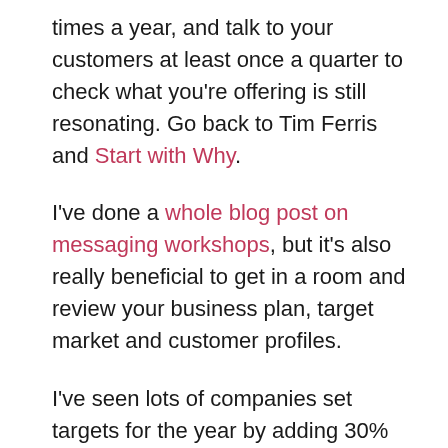times a year, and talk to your customers at least once a quarter to check what you're offering is still resonating. Go back to Tim Ferris and Start with Why.
I've done a whole blog post on messaging workshops, but it's also really beneficial to get in a room and review your business plan, target market and customer profiles.
I've seen lots of companies set targets for the year by adding 30% to the year before, or use the same target list year after year. It's also very easy to follow the money.
Here's a scary fact- I've turned down so much